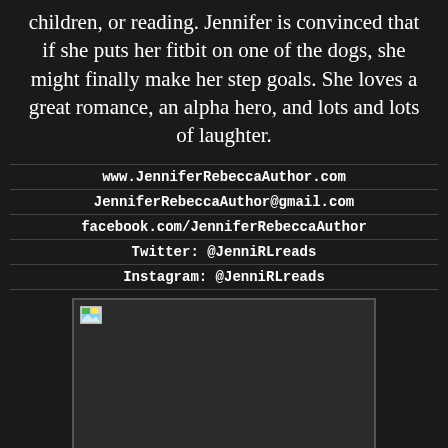children, or reading. Jennifer is convinced that if she puts her fitbit on one of the dogs, she might finally make her step goals. She loves a great romance, an alpha hero, and lots and lots of laughter.
www.JenniferRebeccaAuthor.com
JenniferRebeccaAuthor@gmail.com
facebook.com/JenniferRebeccaAuthor
Twitter: @JenniRLreads
Instagram: @JenniRLreads
[Figure (photo): A broken/missing image placeholder showing a small thumbnail icon in the top-left corner of a dark rectangle.]